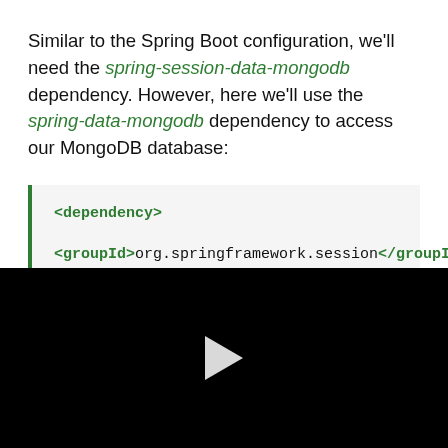Similar to the Spring Boot configuration, we'll need the spring-session-data-mongodb dependency. However, here we'll use the spring-data-mongodb dependency to access our MongoDB database:
<dependency>
<groupId>org.springframework.session</groupId>
[Figure (screenshot): Black video player area with a white play button triangle in the center]